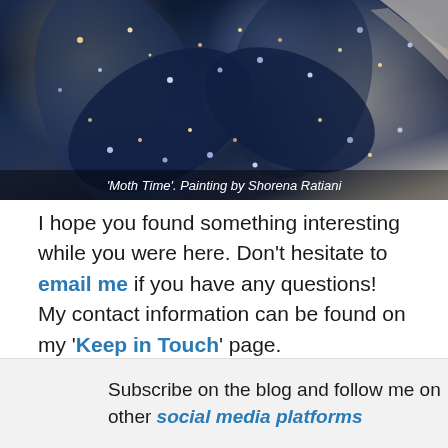[Figure (photo): Close-up painting of a moth with colorful glowing dots and swirling blue-dark background. Painting by Shorena Ratiani titled 'Moth Time'.]
'Moth Time'. Painting by Shorena Ratiani
I hope you found something interesting while you were here. Don't hesitate to email me if you have any questions! My contact information can be found on my 'Keep in Touch' page.
Come back soon and bring your friends here by sharing.
XOXO
Shorena
Subscribe on the blog and follow me on other social media platforms